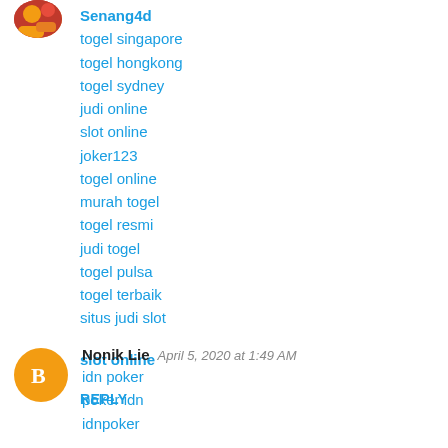[Figure (photo): User avatar image at top left, showing a small profile picture]
Senang4d
togel singapore
togel hongkong
togel sydney
judi online
slot online
joker123
togel online
murah togel
togel resmi
judi togel
togel pulsa
togel terbaik
situs judi slot
slot online
REPLY
[Figure (logo): Orange circle avatar with blogger B icon]
Nonik Lie  April 5, 2020 at 1:49 AM
idn poker
poker idn
idnpoker